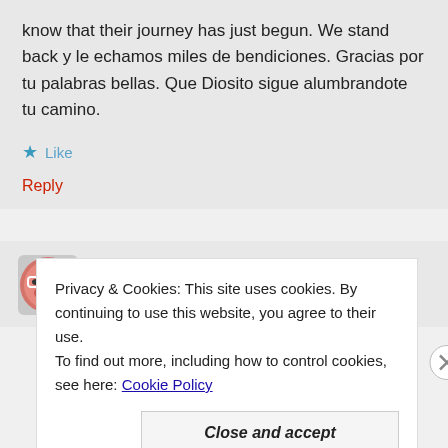know that their journey has just begun. We stand back y le echamos miles de bendiciones. Gracias por tu palabras bellas. Que Diosito sigue alumbrandote tu camino.
★ Like
Reply
Misty   May 7, 2012 at 6:50 pm
Privacy & Cookies: This site uses cookies. By continuing to use this website, you agree to their use.
To find out more, including how to control cookies, see here: Cookie Policy
Close and accept